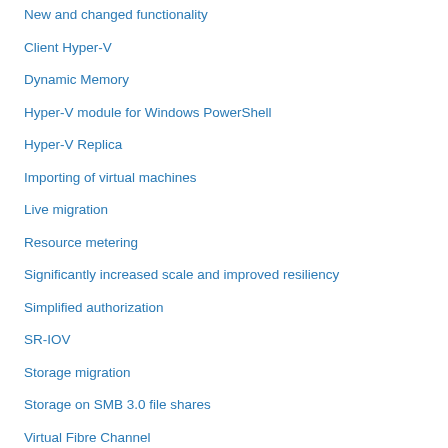New and changed functionality
Client Hyper-V
Dynamic Memory
Hyper-V module for Windows PowerShell
Hyper-V Replica
Importing of virtual machines
Live migration
Resource metering
Significantly increased scale and improved resiliency
Simplified authorization
SR-IOV
Storage migration
Storage on SMB 3.0 file shares
Virtual Fibre Channel
Virtual hard disk format
Virtual machine snapshots
Virtual NUMA